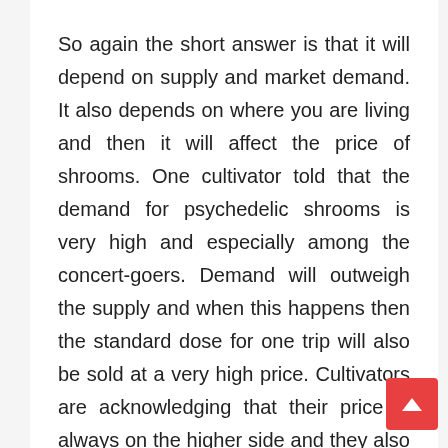So again the short answer is that it will depend on supply and market demand. It also depends on where you are living and then it will affect the price of shrooms. One cultivator told that the demand for psychedelic shrooms is very high and especially among the concert-goers. Demand will outweigh the supply and when this happens then the standard dose for one trip will also be sold at a very high price. Cultivators are acknowledging that their price is always on the higher side and they also felt that their product is worth buying. The cheapest deal would not be considered as ideal quality shrooms. And it is also not worth putting anything in the body. Yes, the cultivator product is of high cost but it is also highly recommended and you will get